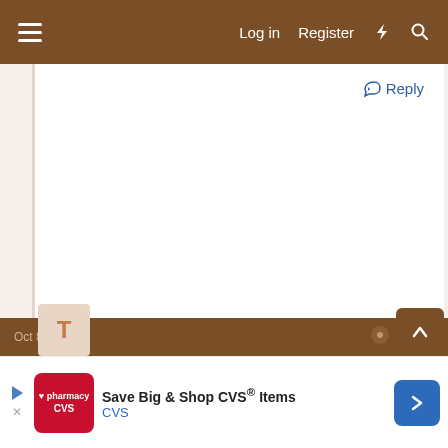Log in  Register
Reply
[Figure (screenshot): Bottom navigation bar with date text and up arrow button on brown background]
[Figure (screenshot): CVS Pharmacy advertisement banner: Save Big & Shop CVS® Items, CVS]